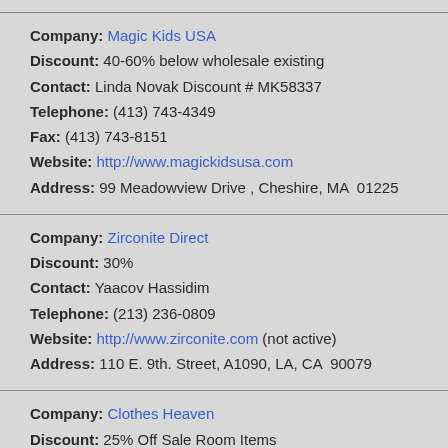Company: Magic Kids USA
Discount: 40-60% below wholesale existing
Contact: Linda Novak Discount # MK58337
Telephone: (413) 743-4349
Fax: (413) 743-8151
Website: http://www.magickidsusa.com
Address: 99 Meadowview Drive , Cheshire, MA  01225
Company: Zirconite Direct
Discount: 30%
Contact: Yaacov Hassidim
Telephone: (213) 236-0809
Website: http://www.zirconite.com (not active)
Address: 110 E. 9th. Street, A1090, LA, CA  90079
Company: Clothes Heaven
Discount: 25% Off Sale Room Items
Contact: Larayne Brannon
Telephone: (626) 440-0929
Website: http://www.clothesheaven.com
Address: 111 East Union St., Pasadena, Ca  91103